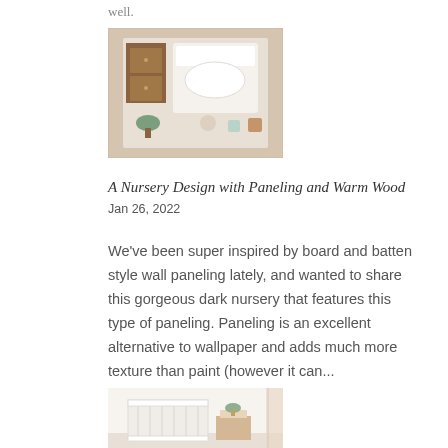well.
[Figure (photo): Overhead flat-lay nursery photo showing wooden furniture, white bedding, and small decorative items arranged on a surface]
A Nursery Design with Paneling and Warm Wood
Jan 26, 2022
We've been super inspired by board and batten style wall paneling lately, and wanted to share this gorgeous dark nursery that features this type of paneling. Paneling is an excellent alternative to wallpaper and adds much more texture than paint (however it can...
[Figure (photo): Nursery room photo with white crib and light colored furniture visible at bottom of page]